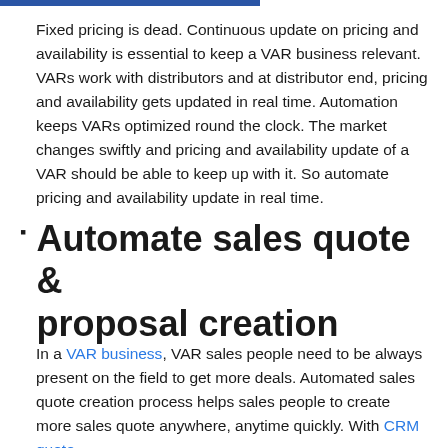Fixed pricing is dead. Continuous update on pricing and availability is essential to keep a VAR business relevant. VARs work with distributors and at distributor end, pricing and availability gets updated in real time. Automation keeps VARs optimized round the clock. The market changes swiftly and pricing and availability update of a VAR should be able to keep up with it. So automate pricing and availability update in real time.
Automate sales quote & proposal creation
In a VAR business, VAR sales people need to be always present on the field to get more deals. Automated sales quote creation process helps sales people to create more sales quote anywhere, anytime quickly. With CRM quote